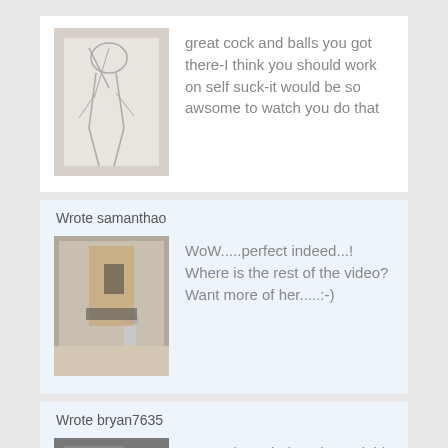[Figure (photo): Avatar image - pencil drawing thumbnail]
great cock and balls you got there-I think you should work on self suck-it would be so awsome to watch you do that
Wrote samanthao
[Figure (photo): Avatar image - shirtless person mirror selfie thumbnail]
WoW.....perfect indeed...! Where is the rest of the video? Want more of her.....:-)
Wrote bryan7635
[Figure (photo): Avatar image partial - dark photo thumbnail]
wow, what a babe! she took his cock like